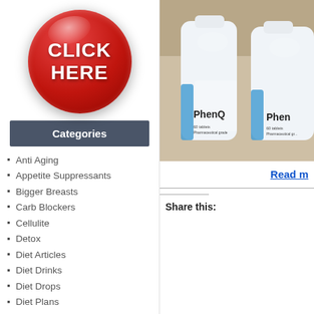[Figure (illustration): Large red glossy circular button with white bold text CLICK HERE in the center]
Categories
Anti Aging
Appetite Suppressants
Bigger Breasts
Carb Blockers
Cellulite
Detox
Diet Articles
Diet Drinks
Diet Drops
Diet Plans
Fat Binders
Fat Burners
[Figure (photo): Two white bottles of PhenQ dietary supplement, pharmaceutical grade, with blue label accents, on a blurred background]
Read m
Share this: